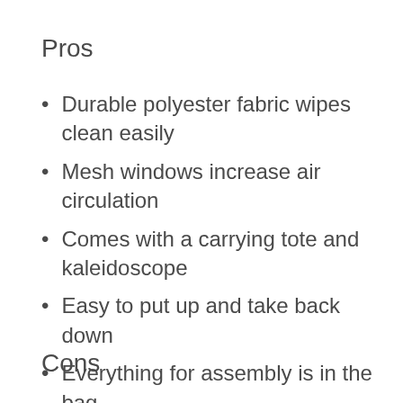Pros
Durable polyester fabric wipes clean easily
Mesh windows increase air circulation
Comes with a carrying tote and kaleidoscope
Easy to put up and take back down
Everything for assembly is in the bag
Cons